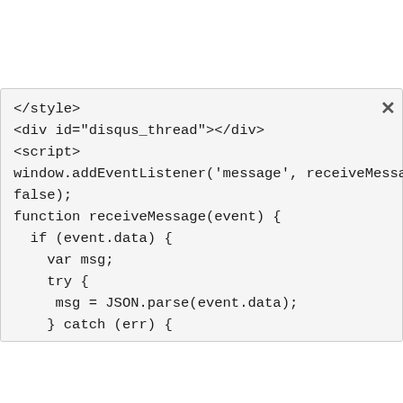</style>
<div id="disqus_thread"></div>
<script>
window.addEventListener('message', receiveMessage,
false);
function receiveMessage(event) {
  if (event.data) {
    var msg;
    try {
     msg = JSON.parse(event.data);
    } catch (err) {